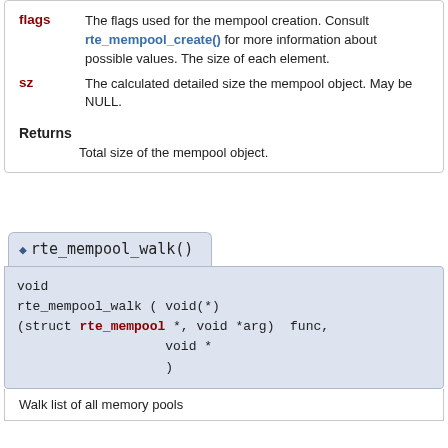| Parameter | Description |
| --- | --- |
| flags | The flags used for the mempool creation. Consult rte_mempool_create() for more information about possible values. The size of each element. |
| sz | The calculated detailed size the mempool object. May be NULL. |
Returns
Total size of the mempool object.
◆ rte_mempool_walk()
void
rte_mempool_walk ( void(*)(struct rte_mempool *, void *arg)  func,
                   void *  arg
                 )
Walk list of all memory pools